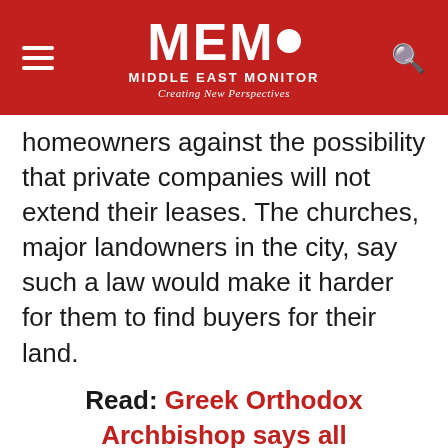MEMO MIDDLE EAST MONITOR — Creating New Perspectives
homeowners against the possibility that private companies will not extend their leases. The churches, major landowners in the city, say such a law would make it harder for them to find buyers for their land.
Read: Greek Orthodox Archbishop says all conspiracies against Jerusalem will fail
"This abhorrent bill ... if approved, would make the expropriation of the lands of churches possible," said the statement by Theophilos III, the Patriarch of Jerusalem, Francesco Patton, the Custos of the Holy Land, and Nourhan Manougian, the Armenian Patriarch of